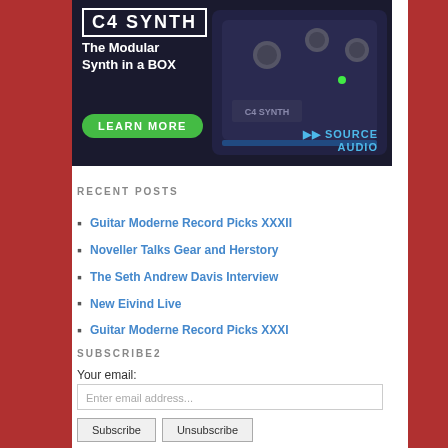[Figure (photo): C4 Synth advertisement banner: 'The Modular Synth in a BOX' with a guitar pedal photo, 'LEARN MORE' button, and Source Audio logo on dark background]
RECENT POSTS
Guitar Moderne Record Picks XXXII
Noveller Talks Gear and Herstory
The Seth Andrew Davis Interview
New Eivind Live
Guitar Moderne Record Picks XXXI
SUBSCRIBE2
Your email:
Enter email address...
Subscribe   Unsubscribe